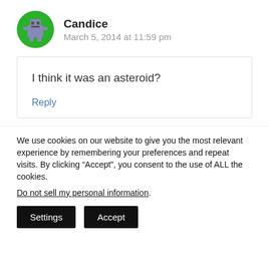[Figure (illustration): Circular green avatar with a pixelated gray robot/game controller icon in the center]
Candice
March 5, 2014 at 11:59 pm
I think it was an asteroid?
Reply
We use cookies on our website to give you the most relevant experience by remembering your preferences and repeat visits. By clicking “Accept”, you consent to the use of ALL the cookies.
Do not sell my personal information.
Settings
Accept